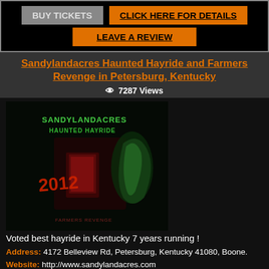BUY TICKETS
CLICK HERE FOR DETAILS
LEAVE A REVIEW
Sandylandacres Haunted Hayride and Farmers Revenge in Petersburg, Kentucky
7287 Views
[Figure (photo): Sandylandacres Haunted Hayride promotional image showing logo, 2012 event art with green glowing figure and red-lit scene]
Voted best hayride in Kentucky 7 years running !
Address: 4172 Belleview Rd, Petersburg, Kentucky 41080, Boone.
Website: http://www.sandylandacres.com
Phone Number: 859-322-0516
Distance From You: ⚠ Enable location sharing from browser settings.
0 Web reviews